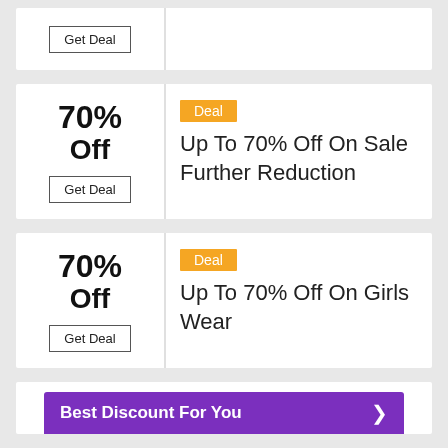Get Deal
70% Off
Deal
Up To 70% Off On Sale Further Reduction
Get Deal
70% Off
Deal
Up To 70% Off On Girls Wear
Get Deal
Best Discount For You